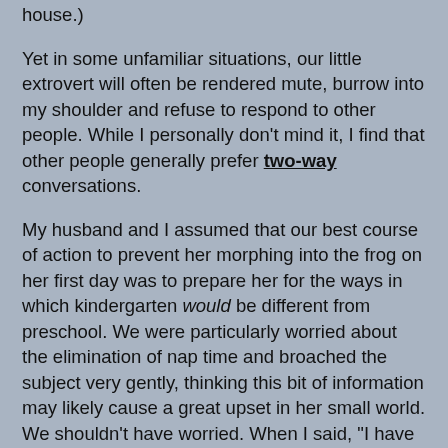house.)
Yet in some unfamiliar situations, our little extrovert will often be rendered mute, burrow into my shoulder and refuse to respond to other people. While I personally don't mind it, I find that other people generally prefer two-way conversations.
My husband and I assumed that our best course of action to prevent her morphing into the frog on her first day was to prepare her for the ways in which kindergarten would be different from preschool. We were particularly worried about the elimination of nap time and broached the subject very gently, thinking this bit of information may likely cause a great upset in her small world. We shouldn't have worried. When I said, "I have to let you know that in kindergarten, you don't have naps anymore." She replied, with a huge, dramatic sigh, "I've been waiting for that all my life."
That first day, armed with her Hello Kitty lunch box, her new school supplies and wearing an ensemble she had pulled together: (tie dye leggings, a wool plaid skirt and a